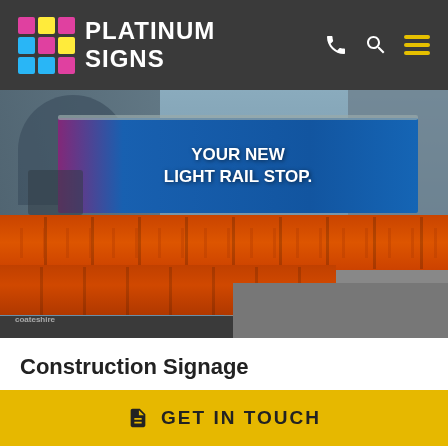PLATINUM SIGNS
[Figure (photo): Construction site photo showing orange traffic barriers along a street with a blue banner reading 'YOUR NEW LIGHT RAIL STOP.' on scaffolding, with a historic building arch in the background.]
Construction Signage
GET IN TOUCH